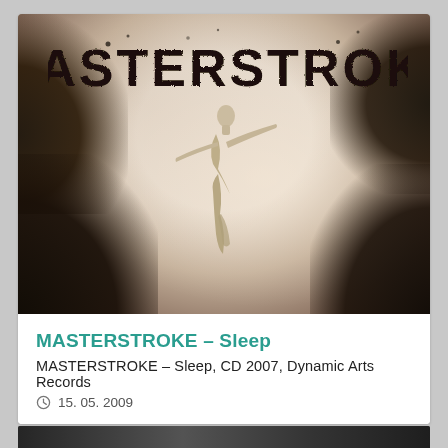[Figure (photo): Album cover art for MASTERSTROKE - Sleep. Dark atmospheric image with a central humanoid figure with arms outstretched in a leap or fall, surrounded by dark foliage in corners, muted brown/grey tones, with the band name MASTERSTROKE in distressed industrial font at the top.]
MASTERSTROKE – Sleep
MASTERSTROKE – Sleep, CD 2007, Dynamic Arts Records
15. 05. 2009